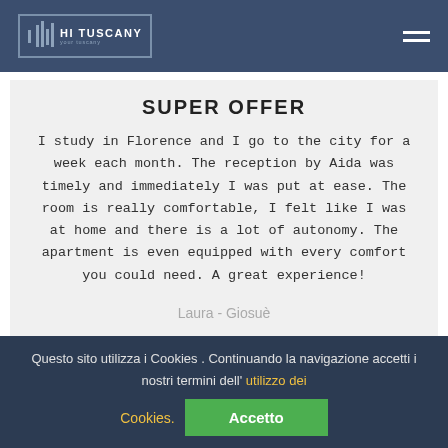HI TUSCANY
SUPER OFFER
I study in Florence and I go to the city for a week each month. The reception by Aida was timely and immediately I was put at ease. The room is really comfortable, I felt like I was at home and there is a lot of autonomy. The apartment is even equipped with every comfort you could need. A great experience!
Laura - Giosuè
Questo sito utilizza i Cookies . Continuando la navigazione accetti i nostri termini dell' utilizzo dei Cookies.